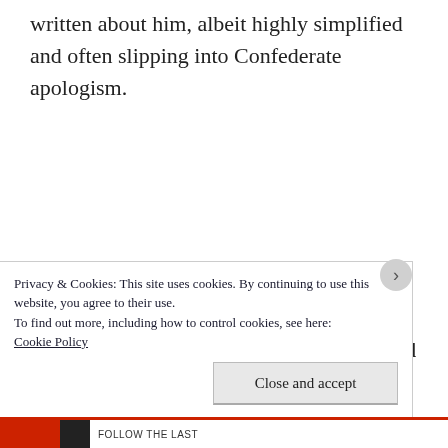written about him, albeit highly simplified and often slipping into Confederate apologism.
Just after the Civil War, Ector won an election for district judge, but in 1867 the United States military government removed him from that position due to being a “Southern
Privacy & Cookies: This site uses cookies. By continuing to use this website, you agree to their use.
To find out more, including how to control cookies, see here:
Cookie Policy
Close and accept